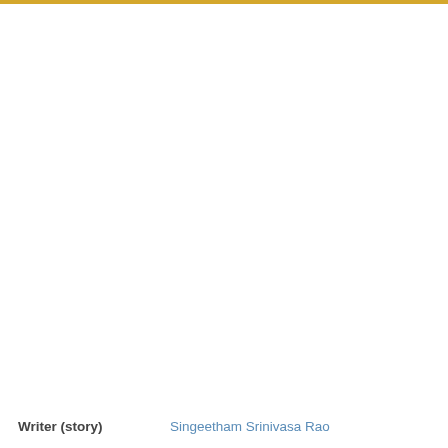Writer (story)
Singeetham Srinivasa Rao